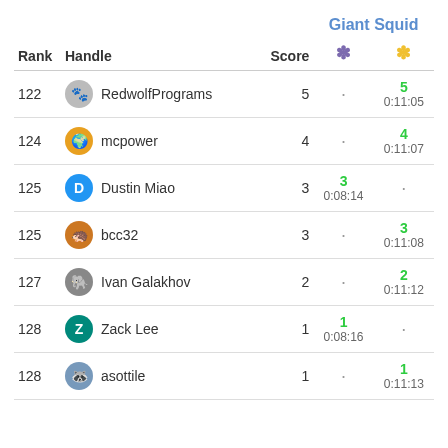| Rank | Handle | Score | ★ (purple) | ★ (yellow) |
| --- | --- | --- | --- | --- |
| 122 | RedwolfPrograms | 5 | · | 5 / 0:11:05 |
| 124 | mcpower | 4 | · | 4 / 0:11:07 |
| 125 | Dustin Miao | 3 | 3 / 0:08:14 | · |
| 125 | bcc32 | 3 | · | 3 / 0:11:08 |
| 127 | Ivan Galakhov | 2 | · | 2 / 0:11:12 |
| 128 | Zack Lee | 1 | 1 / 0:08:16 | · |
| 128 | asottile | 1 | · | 1 / 0:11:13 |